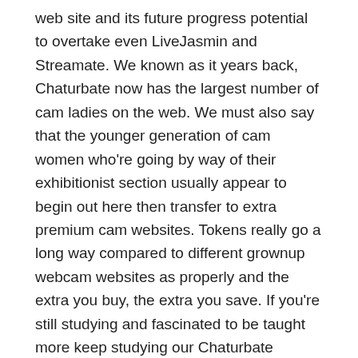web site and its future progress potential to overtake even LiveJasmin and Streamate. We known as it years back, Chaturbate now has the largest number of cam ladies on the web. We must also say that the younger generation of cam women who're going by way of their exhibitionist section usually appear to begin out here then transfer to extra premium cam websites. Tokens really go a long way compared to different grownup webcam websites as properly and the extra you buy, the extra you save. If you're still studying and fascinated to be taught more keep studying our Chaturbate reviews as we delve deeper into the options and prices of this well-liked adult streaming web site.
Chaturbate Reivew
There's no need for email verification to activate your account or linking of social media accounts to enroll. They eliminate the "goals" and just have set charges for certain actions they will do.